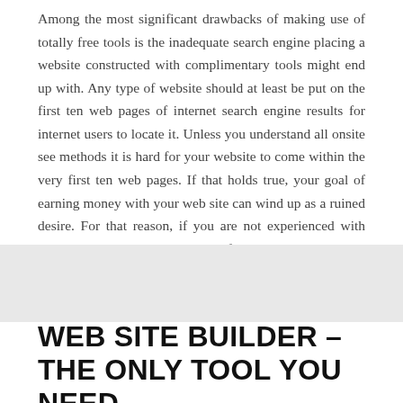Among the most significant drawbacks of making use of totally free tools is the inadequate search engine placing a website constructed with complimentary tools might end up with. Any type of website should at least be put on the first ten web pages of internet search engine results for internet users to locate it. Unless you understand all onsite see methods it is hard for your website to come within the very first ten web pages. If that holds true, your goal of earning money with your web site can wind up as a ruined desire. For that reason, if you are not experienced with search engine optimization, it is far much better to work with a professional to develop your site.
WEB SITE BUILDER – THE ONLY TOOL YOU NEED